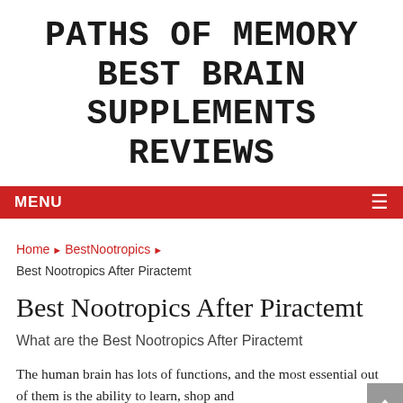PATHS OF MEMORY BEST BRAIN SUPPLEMENTS REVIEWS
MENU
Home ▶ BestNootropics ▶ Best Nootropics After Piractemt
Best Nootropics After Piractemt
What are the Best Nootropics After Piractemt
The human brain has lots of functions, and the most essential out of them is the ability to learn, shop and